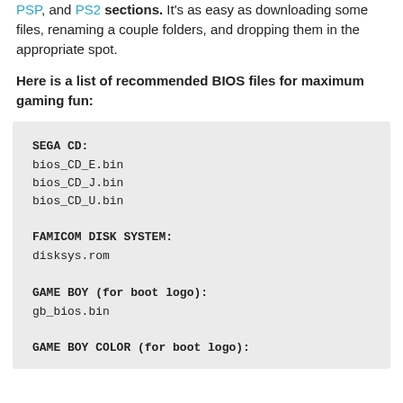PSP, and PS2 sections. It's as easy as downloading some files, renaming a couple folders, and dropping them in the appropriate spot.
Here is a list of recommended BIOS files for maximum gaming fun:
SEGA CD:
bios_CD_E.bin
bios_CD_J.bin
bios_CD_U.bin

FAMICOM DISK SYSTEM:
disksys.rom

GAME BOY (for boot logo):
gb_bios.bin

GAME BOY COLOR (for boot logo):